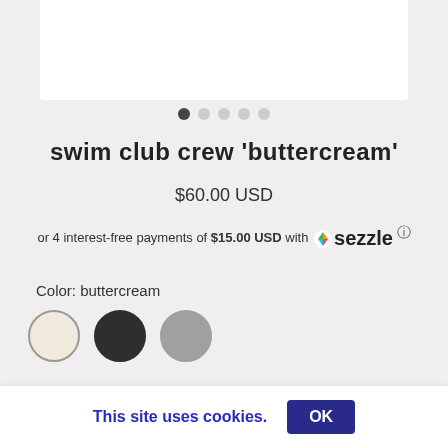[Figure (photo): Product image area showing white background, partially visible product photo]
[Figure (other): Carousel dots: 5 dots, first filled/dark, rest light gray]
swim club crew 'buttercream'
$60.00 USD
or 4 interest-free payments of $15.00 USD with sezzle
Color: buttercream
[Figure (other): Three color swatches: buttercream (cream/off-white), black, and gray circles]
SIZE    SIZE CHART